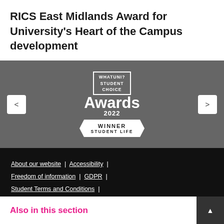RICS East Midlands Award for University's Heart of the Campus development
[Figure (other): WhatUni? Student Choice Awards 2022 - Winner Student Life badge/logo displayed on dark grey banner with navigation arrows on left and right]
About our website | Accessibility | Freedom of information | GDPR | Student Terms and Conditions | Website Cookies and Privacy Policy
© Nottingham Trent University
Also in this section